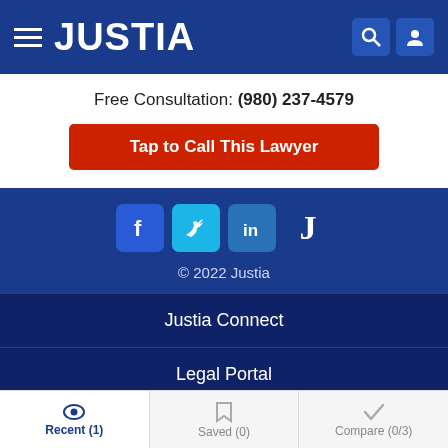JUSTIA
Free Consultation: (980) 237-4579
Tap to Call This Lawyer
[Figure (logo): Social media icons: Facebook, Twitter, LinkedIn, Justia]
© 2022 Justia
Justia Connect
Legal Portal
Company
Help
Recent (1)  Saved (0)  Compare (0/3)